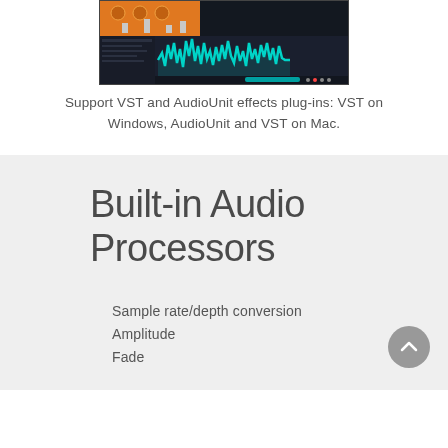[Figure (screenshot): Screenshot of an audio software interface with orange knobs/controls at top left and a teal/cyan waveform display on a dark background]
Support VST and AudioUnit effects plug-ins: VST on Windows, AudioUnit and VST on Mac.
Built-in Audio Processors
Sample rate/depth conversion
Amplitude
Fade